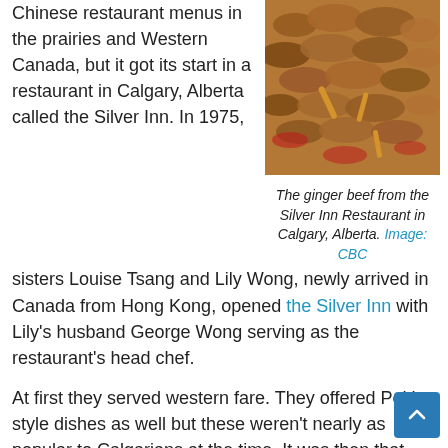Chinese restaurant menus in the prairies and Western Canada, but it got its start in a restaurant in Calgary, Alberta called the Silver Inn. In 1975,
[Figure (photo): Close-up photo of ginger beef dish from the Silver Inn Restaurant — crispy battered beef pieces with sauce and garnish.]
The ginger beef from the Silver Inn Restaurant in Calgary, Alberta. Image: CBC
sisters Louise Tsang and Lily Wong, newly arrived in Canada from Hong Kong, opened the Silver Inn with Lily's husband George Wong serving as the restaurant's head chef.
At first they served western fare. They offered Peking style dishes as well but these weren't nearly as popular to Calgarians at the time. It was then that George Wong had the idea to change up a recipe he had previously used when he was working in the UK. Basing his idea on a beef dish that was sweet, chewy and went great with beer, George Wong made a few alterations to cater his Canadian customers. He toned down the spices, making a sweet chili-garlic-ginger sauce, and he tried battering and deep